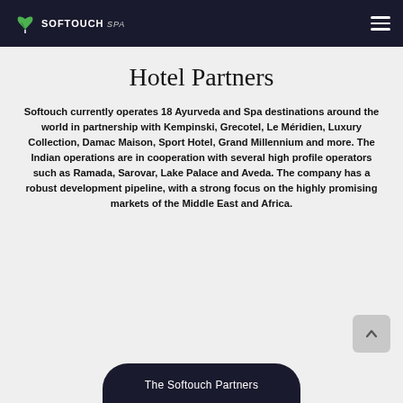SOFTOUCH Spa
Hotel Partners
Softouch currently operates 18 Ayurveda and Spa destinations around the world in partnership with Kempinski, Grecotel, Le Méridien, Luxury Collection, Damac Maison, Sport Hotel, Grand Millennium and more. The Indian operations are in cooperation with several high profile operators such as Ramada, Sarovar, Lake Palace and Aveda. The company has a robust development pipeline, with a strong focus on the highly promising markets of the Middle East and Africa.
The Softouch Partners